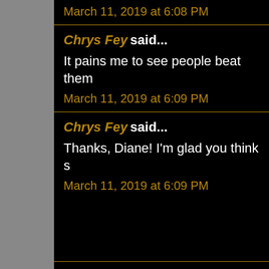March 11, 2019 at 6:08 PM
Chrys Fey said...
It pains me to see people beat them
March 11, 2019 at 6:09 PM
Chrys Fey said...
Thanks, Diane! I'm glad you think s
March 11, 2019 at 6:09 PM